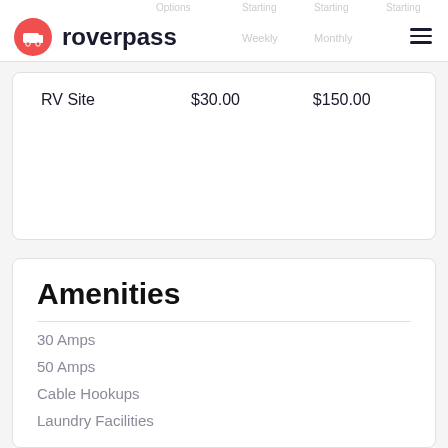roverpass — Options Starting, Starting Weekly, Starting Monthly
| Options | Starting | Starting Weekly | Starting Monthly |
| --- | --- | --- | --- |
| RV Site | $30.00 | $150.00 |  |
Amenities
30 Amps
50 Amps
Cable Hookups
Laundry Facilities